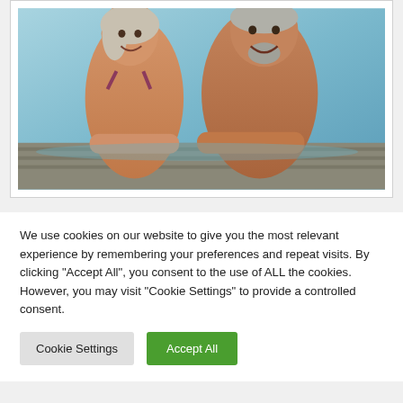[Figure (photo): A smiling middle-aged couple (woman and man) leaning on the edge of a swimming pool, with blue pool water visible in the background.]
We use cookies on our website to give you the most relevant experience by remembering your preferences and repeat visits. By clicking "Accept All", you consent to the use of ALL the cookies. However, you may visit "Cookie Settings" to provide a controlled consent.